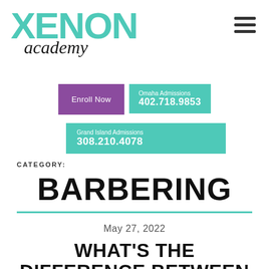[Figure (logo): Xenon Academy logo — XENON in teal uppercase bold font with 'academy' in black cursive script below]
[Figure (other): Hamburger menu icon — three horizontal dark bars]
Enroll Now
Omaha Admissions
402.718.9853
Grand Island Admissions
308.210.4078
CATEGORY:
BARBERING
May 27, 2022
WHAT'S THE DIFFERENCE BETWEEN